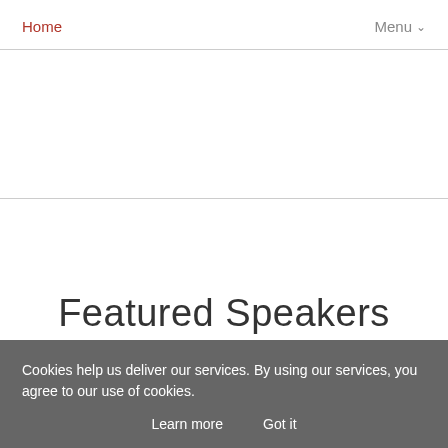Home    Menu ∨
Featured Speakers
Cookies help us deliver our services. By using our services, you agree to our use of cookies.
Learn more
Got it